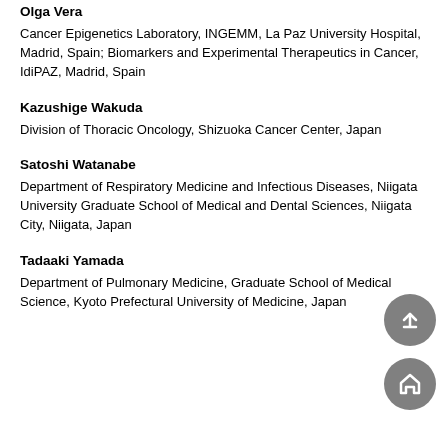Olga Vera
Cancer Epigenetics Laboratory, INGEMM, La Paz University Hospital, Madrid, Spain; Biomarkers and Experimental Therapeutics in Cancer, IdiPAZ, Madrid, Spain
Kazushige Wakuda
Division of Thoracic Oncology, Shizuoka Cancer Center, Japan
Satoshi Watanabe
Department of Respiratory Medicine and Infectious Diseases, Niigata University Graduate School of Medical and Dental Sciences, Niigata City, Niigata, Japan
Tadaaki Yamada
Department of Pulmonary Medicine, Graduate School of Medical Science, Kyoto Prefectural University of Medicine, Japan